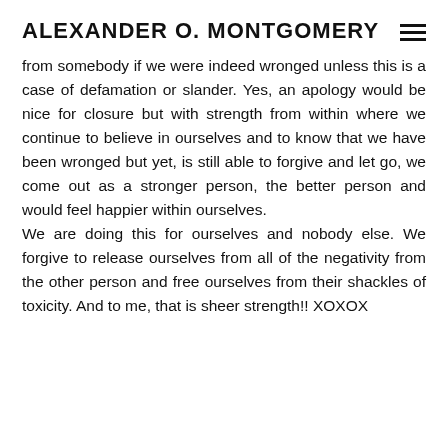ALEXANDER O. MONTGOMERY
from somebody if we were indeed wronged unless this is a case of defamation or slander. Yes, an apology would be nice for closure but with strength from within where we continue to believe in ourselves and to know that we have been wronged but yet, is still able to forgive and let go, we come out as a stronger person, the better person and would feel happier within ourselves.
We are doing this for ourselves and nobody else. We forgive to release ourselves from all of the negativity from the other person and free ourselves from their shackles of toxicity. And to me, that is sheer strength!! XOXOX